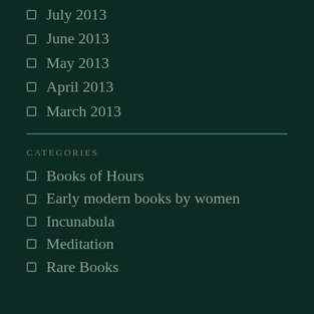July 2013
June 2013
May 2013
April 2013
March 2013
CATEGORIES
Books of Hours
Early modern books by women
Incunabula
Meditation
Rare Books